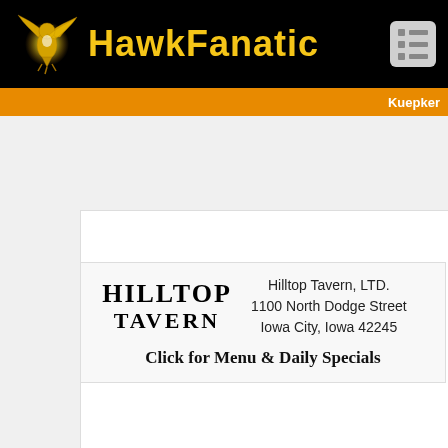HawkFanatic
[Figure (screenshot): Orange navigation bar with text 'Kuepker' visible on the right side]
[Figure (logo): Hilltop Tavern logo with stylized serif text. Address: Hilltop Tavern, LTD. 1100 North Dodge Street Iowa City, Iowa 42245. Call to action: Click for Menu & Daily Specials]